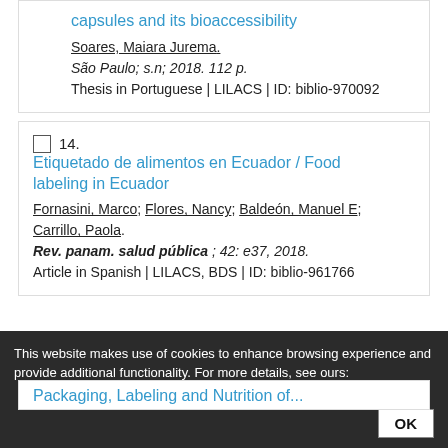capsules and its bioaccessibility
Soares, Maiara Jurema.
São Paulo; s.n; 2018. 112 p.
Thesis in Portuguese | LILACS | ID: biblio-970092
14. Etiquetado de alimentos en Ecuador / Food labeling in Ecuador
Fornasini, Marco; Flores, Nancy; Baldeón, Manuel E; Carrillo, Paola.
Rev. panam. salud pública ; 42: e37, 2018.
Article in Spanish | LILACS, BDS | ID: biblio-961766
This website makes use of cookies to enhance browsing experience and provide additional functionality. For more details, see ours: Terms and conditions for the use and Privacy policy